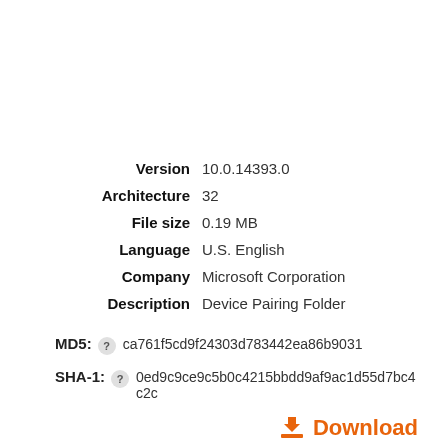| Field | Value |
| --- | --- |
| Version | 10.0.14393.0 |
| Architecture | 32 |
| File size | 0.19 MB |
| Language | U.S. English |
| Company | Microsoft Corporation |
| Description | Device Pairing Folder |
MD5:  ca761f5cd9f24303d783442ea86b9031
SHA-1:  0ed9c9ce9c5b0c4215bbdd9af9ac1d55d7bc4c2c
Download
Zip file size:  83.2 kb